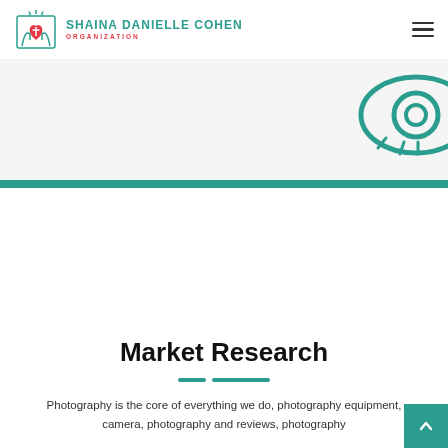[Figure (logo): Shaina Danielle Cohen Organization logo with teal hands holding a red heart with cross, and teal uppercase text SHAINA DANIELLE COHEN with red ORGANIZATION below]
[Figure (illustration): Teal eye outline graphic in the upper right corner of the hero banner area]
Market Research
Photography is the core of everything we do, photography equipment, camera, photography and reviews, photography